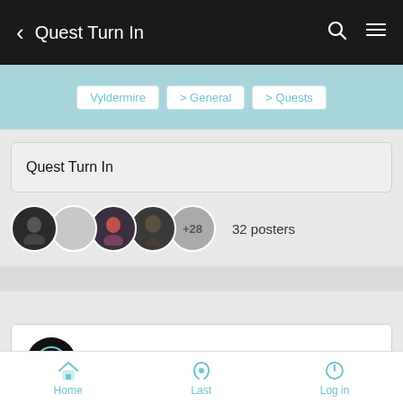< Quest Turn In
Vyldermire > General > Quests
Quest Turn In
32 posters
Page 1 of 6
Fri Jan 29, 2021 12:02 am
Home  Last  Log in